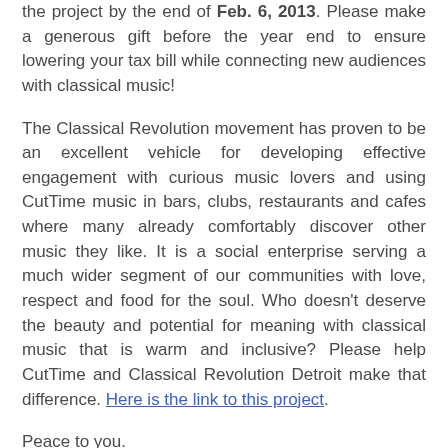the project by the end of Feb. 6, 2013. Please make a generous gift before the year end to ensure lowering your tax bill while connecting new audiences with classical music!
The Classical Revolution movement has proven to be an excellent vehicle for developing effective engagement with curious music lovers and using CutTime music in bars, clubs, restaurants and cafes where many already comfortably discover other music they like. It is a social enterprise serving a much wider segment of our communities with love, respect and food for the soul. Who doesn't deserve the beauty and potential for meaning with classical music that is warm and inclusive? Please help CutTime and Classical Revolution Detroit make that difference. Here is the link to this project.
Peace to you.
- Rick
Comment by email: